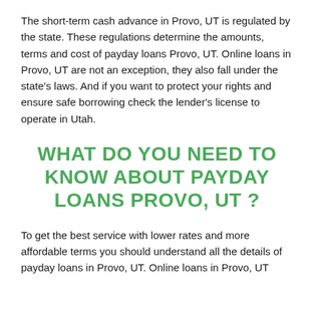The short-term cash advance in Provo, UT is regulated by the state. These regulations determine the amounts, terms and cost of payday loans Provo, UT. Online loans in Provo, UT are not an exception, they also fall under the state's laws. And if you want to protect your rights and ensure safe borrowing check the lender's license to operate in Utah.
WHAT DO YOU NEED TO KNOW ABOUT PAYDAY LOANS Provo, UT ?
To get the best service with lower rates and more affordable terms you should understand all the details of payday loans in Provo, UT. Online loans in Provo, UT